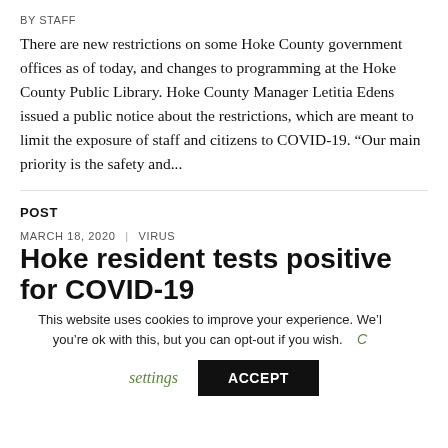BY STAFF
There are new restrictions on some Hoke County government offices as of today, and changes to programming at the Hoke County Public Library. Hoke County Manager Letitia Edens issued a public notice about the restrictions, which are meant to limit the exposure of staff and citizens to COVID-19. “Our main priority is the safety and...
POST
MARCH 18, 2020 | VIRUS
Hoke resident tests positive for COVID-19
BY STAFF
A Hoke County resident has tested presumptive positive for the
This website uses cookies to improve your experience. We'll you're ok with this, but you can opt-out if you wish.
settings
ACCEPT